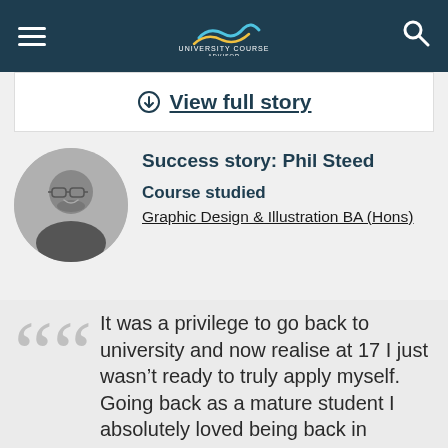University Course Advisor (navigation bar with hamburger menu, logo, and search icon)
View full story
Success story: Phil Steed
Course studied
Graphic Design & Illustration BA (Hons)
[Figure (photo): Black and white circular portrait photo of Phil Steed, a man with glasses and a beard, smiling]
It was a privilege to go back to university and now realise at 17 I just wasn't ready to truly apply myself. Going back as a mature student I absolutely loved being back in education